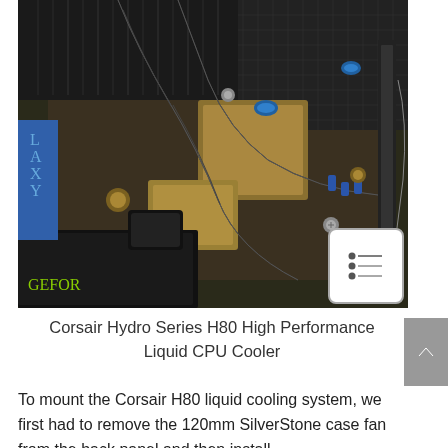[Figure (photo): Close-up photograph of a computer motherboard showing a Corsair H80 liquid CPU cooler installation with corrugated tubing, a GeForce GPU, and various motherboard components including gold-colored fittings and blue connectors.]
Corsair Hydro Series H80 High Performance Liquid CPU Cooler
To mount the Corsair H80 liquid cooling system, we first had to remove the 120mm SilverStone case fan from the back panel and then install